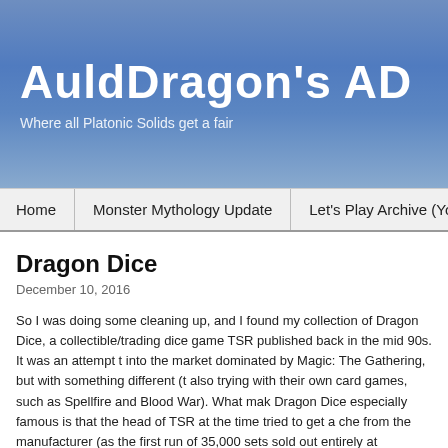AuldDragon's AD — Where all Platonic Solids get a fair...
Home | Monster Mythology Update | Let's Play Archive (YouTub...
Dragon Dice
December 10, 2016
So I was doing some cleaning up, and I found my collection of Dragon Dice, a collectible/trading dice game TSR published back in the mid 90s. It was an attempt to break into the market dominated by Magic: The Gathering, but with something different (they were also trying with their own card games, such as Spellfire and Blood War). What makes Dragon Dice especially famous is that the head of TSR at the time tried to get a cheaper price from the manufacturer (as the first run of 35,000 sets sold out entirely at GenCon), and they would only do so with a large order…of one million sets (not dice, *sets,* which contained a good number of dice each, and it was the starter pack, not the expansion packs).
Needless to say they couldn't actually sell that much, and it was a contributing factor to the downfall of TSR. I learned since I found my dice that they are still being sold; apparently another company is still selling the sets, which are apparently from that enormous run...